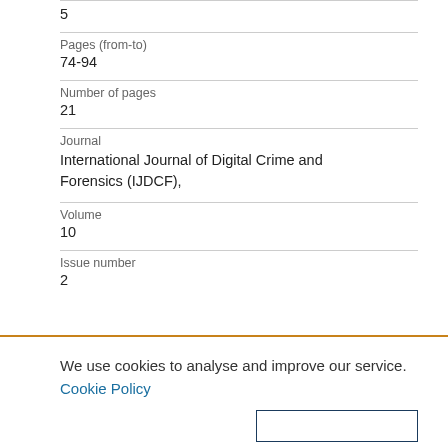| 5 |  |
| Pages (from-to) | 74-94 |
| Number of pages | 21 |
| Journal | International Journal of Digital Crime and Forensics (IJDCF), |
| Volume | 10 |
| Issue number | 2 |
We use cookies to analyse and improve our service. Cookie Policy